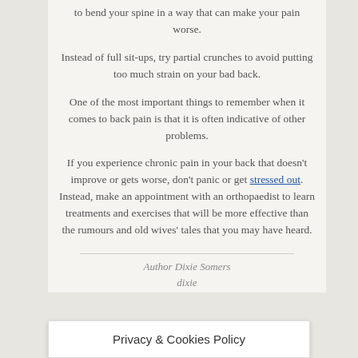to bend your spine in a way that can make your pain worse.
Instead of full sit-ups, try partial crunches to avoid putting too much strain on your bad back.
One of the most important things to remember when it comes to back pain is that it is often indicative of other problems.
If you experience chronic pain in your back that doesn't improve or gets worse, don't panic or get stressed out. Instead, make an appointment with an orthopaedist to learn treatments and exercises that will be more effective than the rumours and old wives' tales that you may have heard.
Author Dixie Somers
dixie...
Privacy & Cookies Policy